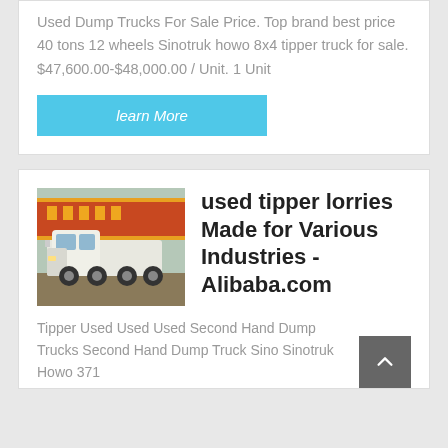Used Dump Trucks For Sale Price. Top brand best price 40 tons 12 wheels Sinotruk howo 8x4 tipper truck for sale. $47,600.00-$48,000.00 / Unit. 1 Unit
learn More
[Figure (photo): Photo of a white Sinotruk HOWO heavy-duty truck parked outdoors with Chinese banner in background]
used tipper lorries Made for Various Industries - Alibaba.com
Tipper Used Used Used Second Hand Dump Trucks Second Hand Dump Truck Sino Sinotruk Howo 371